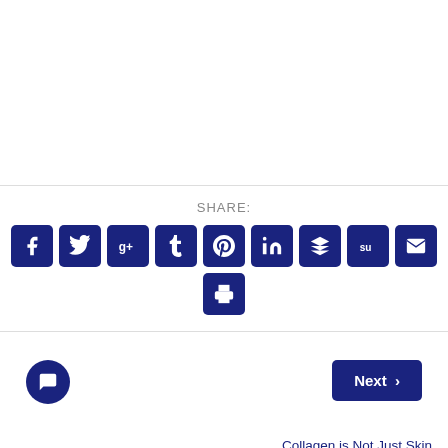SHARE:
[Figure (infographic): Row of social share buttons: Facebook, Twitter, Google+, Tumblr, Pinterest, LinkedIn, Buffer, StumbleUpon, Email, and a Print button below]
[Figure (infographic): Next button (dark blue, text: Next >) at bottom right, and a circular chat icon at bottom left]
Collagen is Not Just Skin